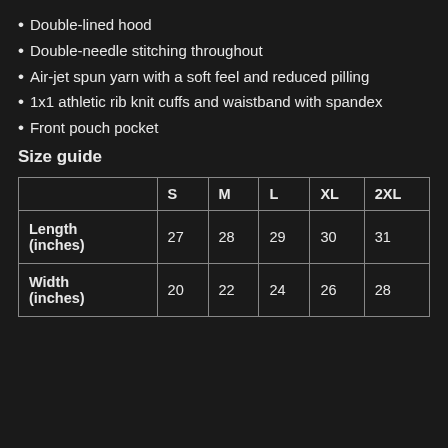Double-lined hood
Double-needle stitching throughout
Air-jet spun yarn with a soft feel and reduced pilling
1x1 athletic rib knit cuffs and waistband with spandex
Front pouch pocket
Size guide
|  | S | M | L | XL | 2XL |
| --- | --- | --- | --- | --- | --- |
| Length (inches) | 27 | 28 | 29 | 30 | 31 |
| Width (inches) | 20 | 22 | 24 | 26 | 28 |